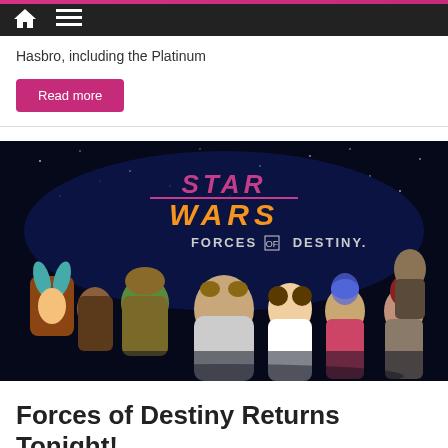Home | Menu
Hasbro, including the Platinum
Read more
[Figure (illustration): Star Wars Forces of Destiny animated characters — group of female heroes including Rey, Ahsoka, Hera, Leia, Sabine, and others against a starry space background with the Star Wars Forces of Destiny logo]
Forces of Destiny Returns Tonight!